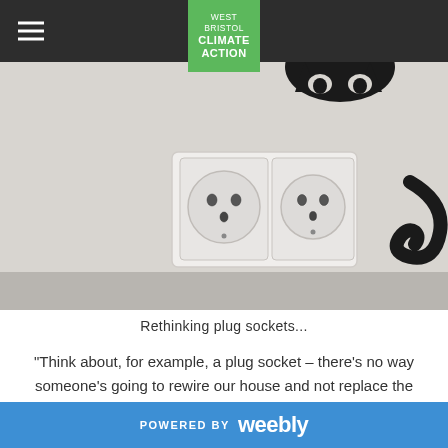West Bristol Climate Action
[Figure (photo): Two white electrical plug sockets mounted on a light grey wall, with a black cat wall sticker partially visible on the right side.]
Rethinking plug sockets...
“Think about, for example, a plug socket – there's no way someone's going to rewire our house and not replace the plug sockets. But why? It's a good example – it probably will be there
POWERED BY weebly